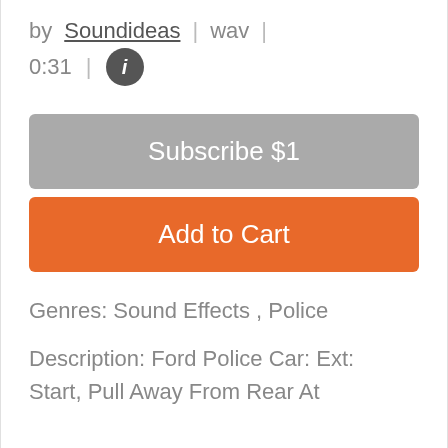by Soundideas | wav |
0:31 | ℹ
Subscribe $1
Add to Cart
Genres: Sound Effects , Police
Description: Ford Police Car: Ext: Start, Pull Away From Rear At